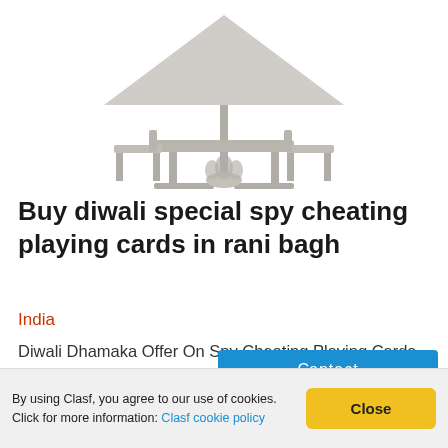[Figure (illustration): Placeholder silhouette illustration of outdoor furniture (table with umbrella and chairs), gray tones on white background]
Buy diwali special spy cheating playing cards in rani bagh
India
Diwali Dhamaka Offer On Spy Cheating Playing Cards in Rani Bagh Delhi. We Sell All Types Of Magic Playing Cards Best For Diwali Night, Diwali Playing Cards, Diwali Special Gold Playing Cards, Spy Cheating Playing Cards, Poker Playing Cards, Casino Playing Cards, Gambling
By using Clasf, you agree to our use of cookies. Click for more information: Clasf cookie policy  [Close]